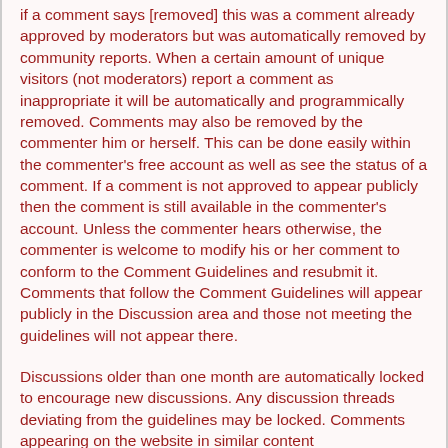if a comment says [removed] this was a comment already approved by moderators but was automatically removed by community reports. When a certain amount of unique visitors (not moderators) report a comment as inappropriate it will be automatically and programmically removed. Comments may also be removed by the commenter him or herself. This can be done easily within the commenter's free account as well as see the status of a comment. If a comment is not approved to appear publicly then the comment is still available in the commenter's account. Unless the commenter hears otherwise, the commenter is welcome to modify his or her comment to conform to the Comment Guidelines and resubmit it. Comments that follow the Comment Guidelines will appear publicly in the Discussion area and those not meeting the guidelines will not appear there.
Discussions older than one month are automatically locked to encourage new discussions. Any discussion threads deviating from the guidelines may be locked. Comments appearing on the website in similar content